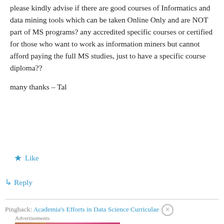please kindly advise if there are good courses of Informatics and data mining tools which can be taken Online Only and are NOT part of MS programs? any accredited specific courses or certified for those who want to work as information miners but cannot afford paying the full MS studies, just to have a specific course diploma??
many thanks – Tal
★ Like
↳ Reply
Pingback: Academia's Efforts in Data Science Curriculae
Advertisements
[Figure (photo): Victoria's Secret advertisement banner showing a woman and shop the collection button]